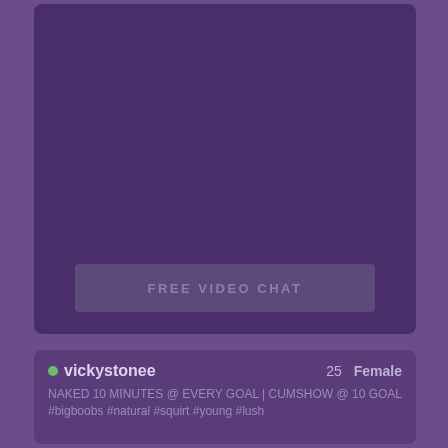[Figure (screenshot): Purple video chat thumbnail area, large dark purple rectangle]
FREE VIDEO CHAT
vickystonee  25  Female
NAKED 10 MINUTES @ EVERY GOAL | CUMSHOW @ 10 GOAL #bigboobs #natural #squirt #young #lush
[Figure (screenshot): Partial thumbnail images at the bottom of the page]